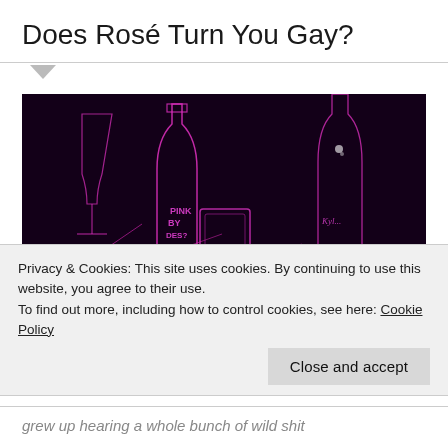Does Rosé Turn You Gay?
[Figure (photo): Neon/edge-detected pink and magenta glowing image of wine and spirit bottles on a dark purple-black background, showing bottles labeled 'PINK BY DES[?]' and another with a cursive label, plus a wine glass outline]
Graham Norton's Own Rosé and Kylie
Privacy & Cookies: This site uses cookies. By continuing to use this website, you agree to their use.
To find out more, including how to control cookies, see here: Cookie Policy
Close and accept
grew up hearing a whole bunch of wild shit